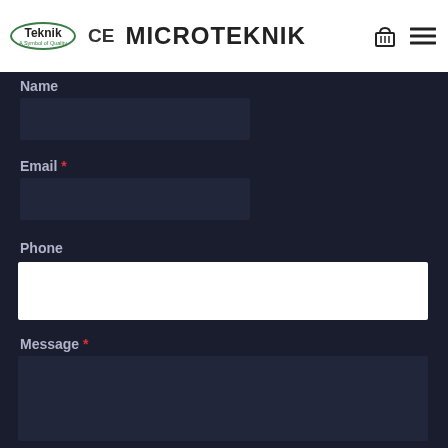Teknik CE Microteknik
Name
Email *
Phone
Message *